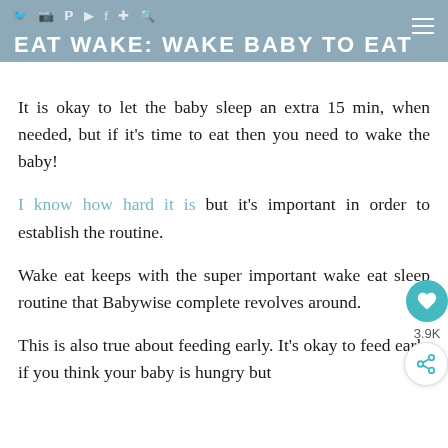EAT WAKE: WAKE BABY TO EAT
It is okay to let the baby sleep an extra 15 min, when needed, but if it's time to eat then you need to wake the baby!
I know how hard it is but it's important in order to establish the routine.
Wake eat keeps with the super important wake eat sleep routine that Babywise complete revolves around.
This is also true about feeding early. It's okay to feed early if you think your baby is hungry but